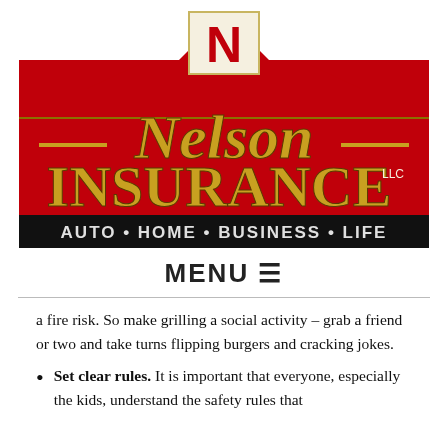[Figure (logo): Nelson Insurance LLC logo — red barn-shaped sign with gold text reading 'Nelson INSURANCE LLC' and a black banner below reading 'AUTO · HOME · BUSINESS · LIFE', with a white square bearing a red 'N' at the top center.]
MENU ☰
a fire risk. So make grilling a social activity – grab a friend or two and take turns flipping burgers and cracking jokes.
Set clear rules. It is important that everyone, especially the kids, understand the safety rules that